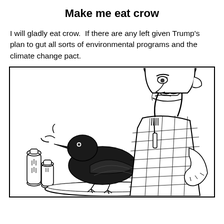Make me eat crow
I will gladly eat crow.  If there are any left given Trump's plan to gut all sorts of environmental programs and the climate change pact.
[Figure (illustration): Black and white cartoon illustration of a man in a plaid shirt holding a fork, looking reluctantly at a crow on a plate in front of him. Salt and pepper shakers are visible on the left side.]